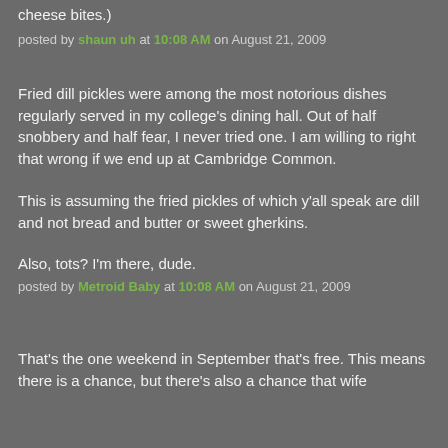cheese bites.)
posted by shaun uh at 10:08 AM on August 21, 2009
Fried dill pickles were among the most notorious dishes regularly served in my college's dining hall. Out of half snobbery and half fear, I never tried one. I am willing to right that wrong if we end up at Cambridge Common.
This is assuming the fried pickles of which y'all speak are dill and not bread and butter or sweet gherkins.
Also, tots? I'm there, dude.
posted by Metroid Baby at 10:08 AM on August 21, 2009
That's the one weekend in September that's free. This means there is a chance, but there's also a chance that wife